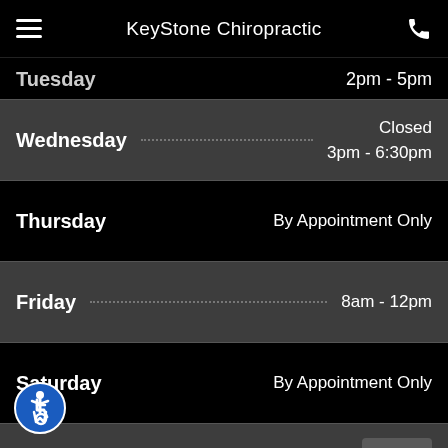KeyStone Chiropractic
| Day | Hours |
| --- | --- |
| Tuesday | 2pm - 5pm |
| Wednesday | Closed / 3pm - 6:30pm |
| Thursday | By Appointment Only |
| Friday | 8am - 12pm |
| Saturday | By Appointment Only |
| Sunday | Closed / Closed |